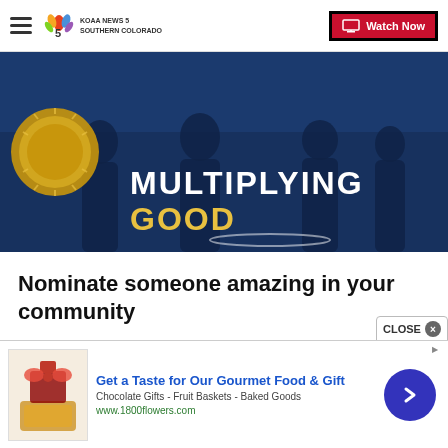KOAA News 5 Southern Colorado | Watch Now
[Figure (photo): Dark blue banner image with text 'MULTIPLYING GOOD' and silhouettes of people, with a gold medallion on the left side.]
Nominate someone amazing in your community
[Figure (photo): Advertisement: Get a Taste for Our Gourmet Food & Gift. Chocolate Gifts - Fruit Baskets - Baked Goods. www.1800flowers.com]